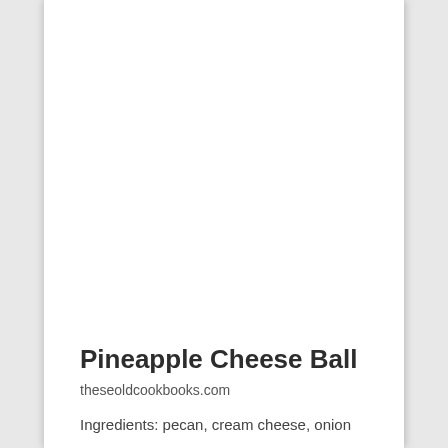Pineapple Cheese Ball
theseoldcookbooks.com
Ingredients: pecan, cream cheese, onion